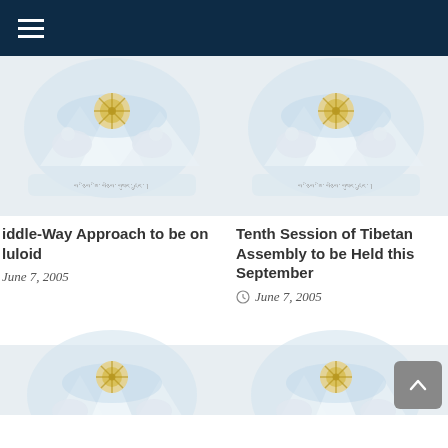Navigation menu
[Figure (illustration): Tibetan government emblem/seal with snow lions, dharma wheel, and Tibetan script on a banner — faded/watermark style, left card top]
iddle-Way Approach to be on luloid
June 7, 2005
[Figure (illustration): Tibetan government emblem/seal with snow lions, dharma wheel, and Tibetan script on a banner — faded/watermark style, right card top]
Tenth Session of Tibetan Assembly to be Held this September
June 7, 2005
[Figure (illustration): Tibetan government emblem/seal with snow lions, dharma wheel — faded/watermark style, bottom-left card, partially visible]
[Figure (illustration): Tibetan government emblem/seal with snow lions, dharma wheel — faded/watermark style, bottom-right card, partially visible]